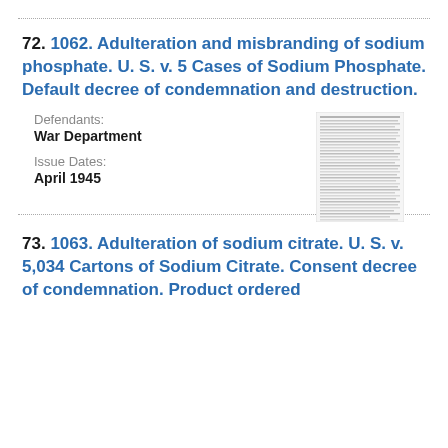72. 1062. Adulteration and misbranding of sodium phosphate. U. S. v. 5 Cases of Sodium Phosphate. Default decree of condemnation and destruction.
Defendants: War Department
Issue Dates: April 1945
[Figure (other): Thumbnail image of a document page with dense text, too small to read.]
73. 1063. Adulteration of sodium citrate. U. S. v. 5,034 Cartons of Sodium Citrate. Consent decree of condemnation. Product ordered